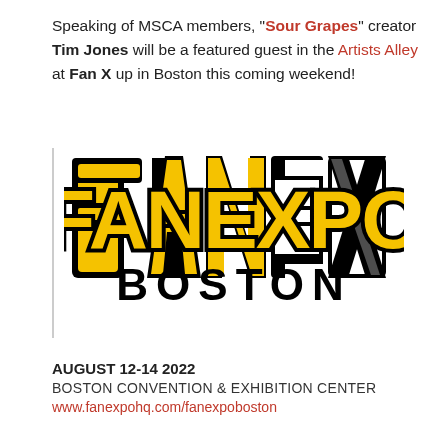Speaking of MSCA members, "Sour Grapes" creator Tim Jones will be a featured guest in the Artists Alley at Fan X up in Boston this coming weekend!
[Figure (logo): Fan Expo Boston logo: large bold yellow letters FAN with black outline, large bold yellow and black letters EXPO, and BOSTON in large black letters below]
AUGUST 12-14 2022
BOSTON CONVENTION & EXHIBITION CENTER
www.fanexpohq.com/fanexpoboston